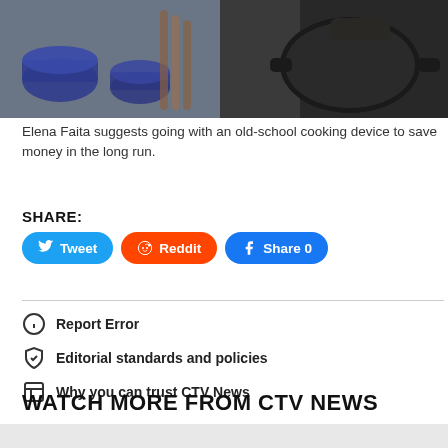[Figure (photo): Photo of cooking pots and pans on a table, with a person holding a dark cast iron pan]
Elena Faita suggests going with an old-school cooking device to save money in the long run.
SHARE:
Tweet  Reddit  Share 0
Report Error
Editorial standards and policies
Why you can trust CTV News
WATCH MORE FROM CTV NEWS